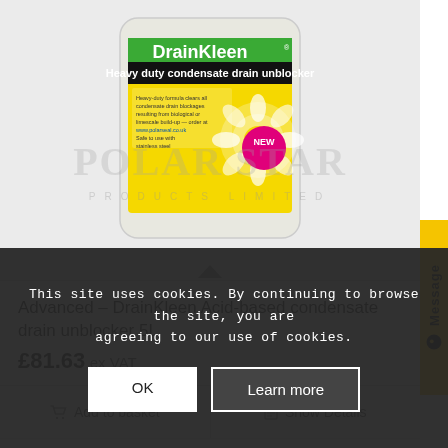[Figure (photo): DrainKleen product bottle with yellow label and 'NEW' badge, shown against light grey background with Polar Star Products Limited watermark]
Advanced – DrainKleen Acid-based condensate drain unblocker 5L
£81.63 ex VAT
Add to basket
Show Details
This site uses cookies. By continuing to browse the site, you are agreeing to our use of cookies.
OK
Learn more